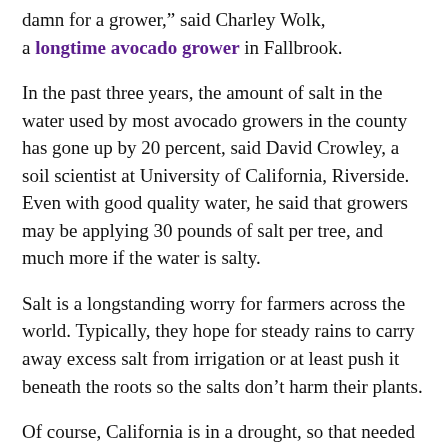damn for a grower,” said Charley Wolk, a longtime avocado grower in Fallbrook.
In the past three years, the amount of salt in the water used by most avocado growers in the county has gone up by 20 percent, said David Crowley, a soil scientist at University of California, Riverside. Even with good quality water, he said that growers may be applying 30 pounds of salt per tree, and much more if the water is salty.
Salt is a longstanding worry for farmers across the world. Typically, they hope for steady rains to carry away excess salt from irrigation or at least push it beneath the roots so the salts don’t harm their plants.
Of course, California is in a drought, so that needed rain hasn’t materialized.